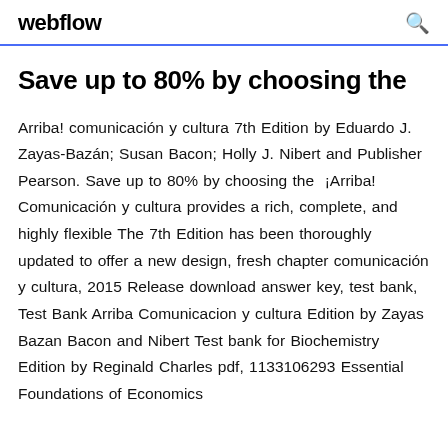webflow
Save up to 80% by choosing the
Arriba! comunicación y cultura 7th Edition by Eduardo J. Zayas-Bazán; Susan Bacon; Holly J. Nibert and Publisher Pearson. Save up to 80% by choosing the ¡Arriba! Comunicación y cultura provides a rich, complete, and highly flexible The 7th Edition has been thoroughly updated to offer a new design, fresh chapter comunicación y cultura, 2015 Release download answer key, test bank, Test Bank Arriba Comunicacion y cultura Edition by Zayas Bazan Bacon and Nibert Test bank for Biochemistry Edition by Reginald Charles pdf, 1133106293 Essential Foundations of Economics